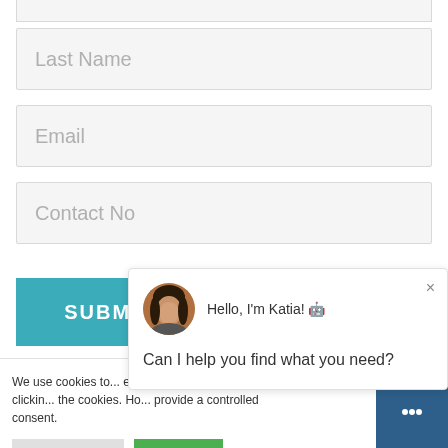[Figure (screenshot): Web form with Last Name, Email, and Contact No input fields, a teal SUBMIT button, a cookie consent banner at the bottom left, and a chat popup overlay with avatar of a woman named Katia asking 'Can I help you find what you need?', plus a dark blue chat icon button at the bottom right.]